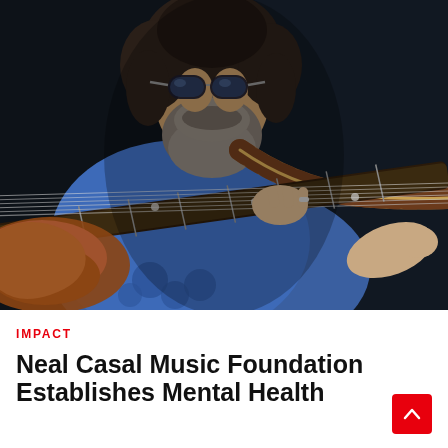[Figure (photo): A bearded man with aviator sunglasses playing an electric guitar on stage. He wears a blue t-shirt with floral print details and has a decorative guitar strap. The guitar is a brown/wood-colored electric guitar. Dark background.]
IMPACT
Neal Casal Music Foundation Establishes Mental Health